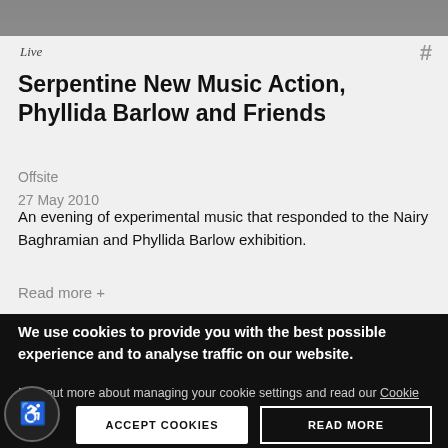[Figure (photo): Partial top edge of a photo, dark tones, person or background visible]
Live
Serpentine New Music Action, Phyllida Barlow and Friends
Offsite
27 May 2010
An evening of experimental music that responded to the Nairy Baghramian and Phyllida Barlow exhibition.
Read more +
We use cookies to provide you with the best possible experience and to analyse traffic on our website.
Find out more about managing your cookie settings and read our Cookie Policy.